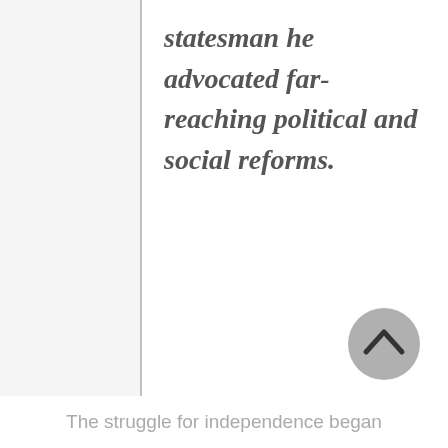statesman he advocated far-reaching political and social reforms.
[Figure (other): A circular grey back-to-top button with a chevron/caret arrow pointing upward, positioned in the lower right area of the page.]
The struggle for independence began